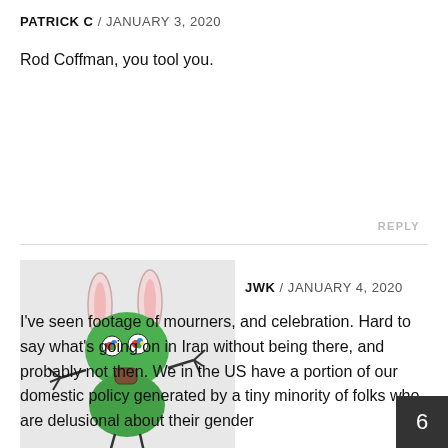PATRICK C / JANUARY 3, 2020
Rod Coffman, you tool you.
REPLY
[Figure (illustration): Avatar image of a cartoon green creature with bunny ears, colorful eyes, stick arms, and yellow feet on a light gray background]
JWK / JANUARY 4, 2020
I've seen footage of mourners, and celebration. Hard to say what's going on in Iran without being there, and probably not then. We in the US have a portion of our domestic policy generated by a tiny minority of folks who are delusional about their gender…
6